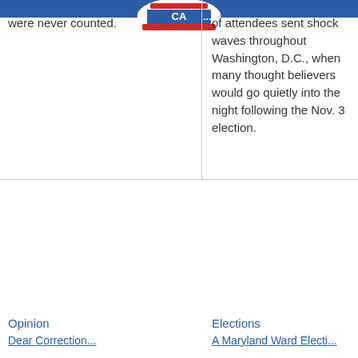[Figure (illustration): A red, white and blue campaign button partially visible at the top center of the page]
were never counted.
of attendees sent shock waves throughout Washington, D.C., when many thought believers would go quietly into the night following the Nov. 3 election.
Opinion
Elections
Dear Correction...
A Maryland Ward Election...